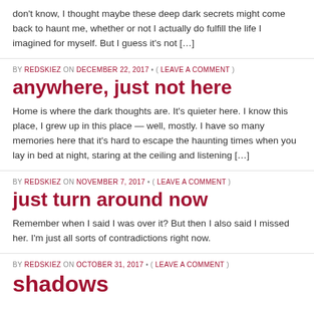don't know, I thought maybe these deep dark secrets might come back to haunt me, whether or not I actually do fulfill the life I imagined for myself. But I guess it's not […]
BY REDSKIEZ ON DECEMBER 22, 2017 • ( LEAVE A COMMENT )
anywhere, just not here
Home is where the dark thoughts are. It's quieter here. I know this place, I grew up in this place — well, mostly. I have so many memories here that it's hard to escape the haunting times when you lay in bed at night, staring at the ceiling and listening […]
BY REDSKIEZ ON NOVEMBER 7, 2017 • ( LEAVE A COMMENT )
just turn around now
Remember when I said I was over it? But then I also said I missed her. I'm just all sorts of contradictions right now.
BY REDSKIEZ ON OCTOBER 31, 2017 • ( LEAVE A COMMENT )
shadows